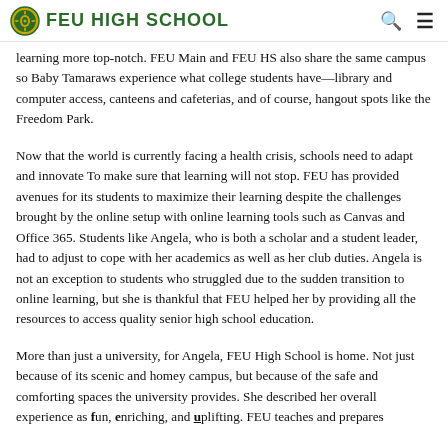FEU HIGH SCHOOL
learning more top-notch. FEU Main and FEU HS also share the same campus so Baby Tamaraws experience what college students have—library and computer access, canteens and cafeterias, and of course, hangout spots like the Freedom Park.
Now that the world is currently facing a health crisis, schools need to adapt and innovate To make sure that learning will not stop. FEU has provided avenues for its students to maximize their learning despite the challenges brought by the online setup with online learning tools such as Canvas and Office 365. Students like Angela, who is both a scholar and a student leader, had to adjust to cope with her academics as well as her club duties. Angela is not an exception to students who struggled due to the sudden transition to online learning, but she is thankful that FEU helped her by providing all the resources to access quality senior high school education.
More than just a university, for Angela, FEU High School is home. Not just because of its scenic and homey campus, but because of the safe and comforting spaces the university provides. She described her overall experience as fun, enriching, and uplifting. FEU teaches and prepares